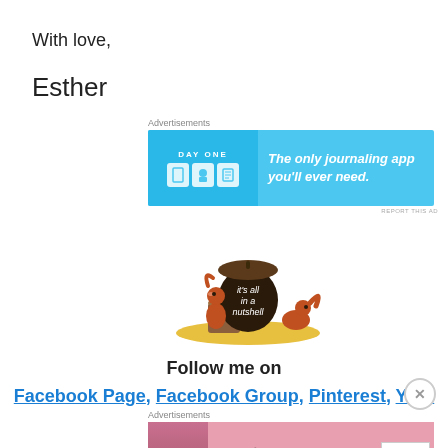With love,
Esther
Advertisements
[Figure (photo): Day One journaling app advertisement banner with blue background, app icons, and text 'The only journaling app you'll ever need.']
[Figure (illustration): Cartoon squirrels with an acorn saying 'it's all in a nutshell']
Follow me on
Facebook Page, Facebook Group, Pinterest, You-
Advertisements
[Figure (photo): Victoria's Secret advertisement with model, logo, and 'SHOP THE COLLECTION - SHOP NOW' button]